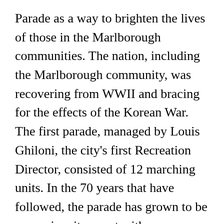Parade as a way to brighten the lives of those in the Marlborough communities. The nation, including the Marlborough community, was recovering from WWII and bracing for the effects of the Korean War. The first parade, managed by Louis Ghiloni, the city's first Recreation Director, consisted of 12 marching units. In the 70 years that have followed, the parade has grown to be a premier city event with an impressive variety of bands, floats, and entertainers. This year we are delighted to be celebrating 70 years of tradition.
The success of the parade is due in large part to community support. The majority of